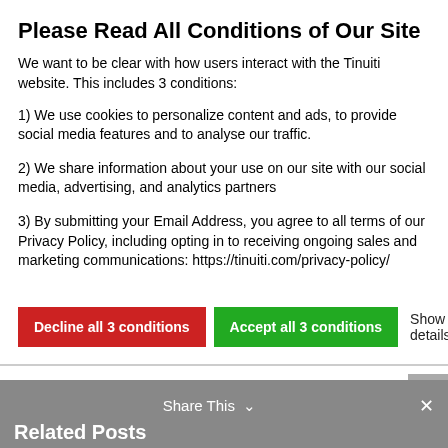Please Read All Conditions of Our Site
We want to be clear with how users interact with the Tinuiti website. This includes 3 conditions:
1) We use cookies to personalize content and ads, to provide social media features and to analyse our traffic.
2) We share information about your use on our site with our social media, advertising, and analytics partners
3) By submitting your Email Address, you agree to all terms of our Privacy Policy, including opting in to receiving ongoing sales and marketing communications: https://tinuiti.com/privacy-policy/
Decline all 3 conditions   Accept all 3 conditions   Show details
70%.
.
Share This
Related Posts